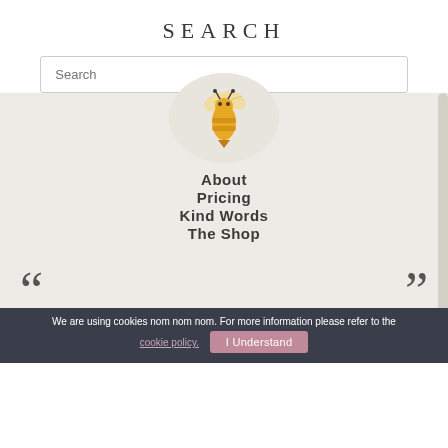SEARCH
Search
[Figure (illustration): A golden/yellow bee illustration inside a light beige circle]
About
Pricing
Kind Words
The Shop
We are using cookies nom nom nom. For more information please refer to the cookie policy.  I Understand